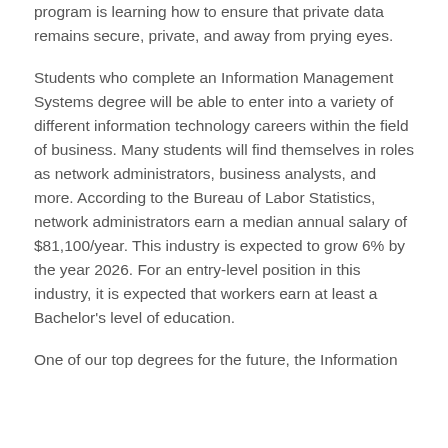program is learning how to ensure that private data remains secure, private, and away from prying eyes.
Students who complete an Information Management Systems degree will be able to enter into a variety of different information technology careers within the field of business. Many students will find themselves in roles as network administrators, business analysts, and more. According to the Bureau of Labor Statistics, network administrators earn a median annual salary of $81,100/year. This industry is expected to grow 6% by the year 2026. For an entry-level position in this industry, it is expected that workers earn at least a Bachelor's level of education.
One of our top degrees for the future, the Information